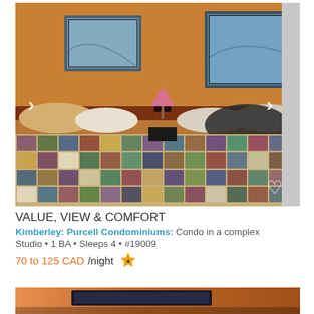[Figure (photo): Interior photo of a condo bedroom with two beds covered in colorful patchwork quilts, orange walls with framed artwork, a pink lamp on a nightstand, and dark wooden headboards. Navigation arrows on left and right, heart/favorite icon bottom right.]
VALUE, VIEW & COMFORT
Kimberley: Purcell Condominiums: Condo in a complex
Studio • 1 BA • Sleeps 4 • #19009
70 to 125 CAD/night ★4
[Figure (photo): Partial preview of a second listing photo showing a warm orange/brown toned interior, cropped at the bottom of the page.]